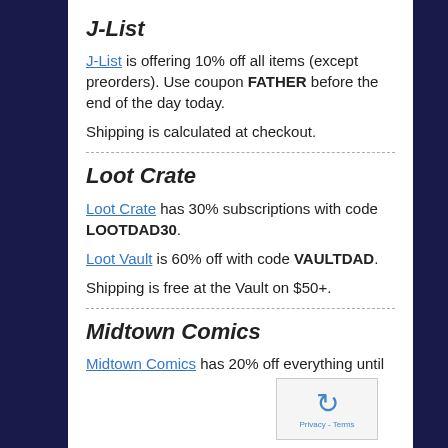J-List
J-List is offering 10% off all items (except preorders). Use coupon FATHER before the end of the day today.
Shipping is calculated at checkout.
Loot Crate
Loot Crate has 30% subscriptions with code LOOTDAD30.
Loot Vault is 60% off with code VAULTDAD.
Shipping is free at the Vault on $50+.
Midtown Comics
Midtown Comics has 20% off everything until